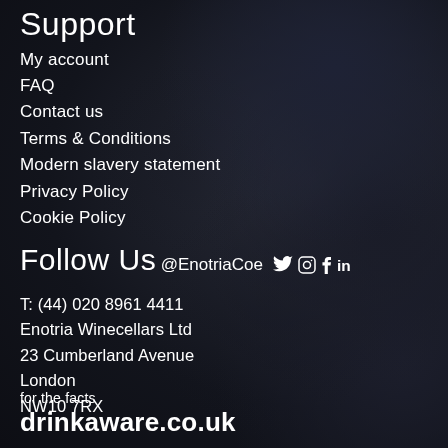Support
My account
FAQ
Contact us
Terms & Conditions
Modern slavery statement
Privacy Policy
Cookie Policy
Follow Us
@EnotriaCoe  Twitter Instagram Facebook LinkedIn
T: (44) 020 8961 4411
Enotria Winecellars Ltd
23 Cumberland Avenue
London
NW10 7RX
for the facts
drinkaware.co.uk